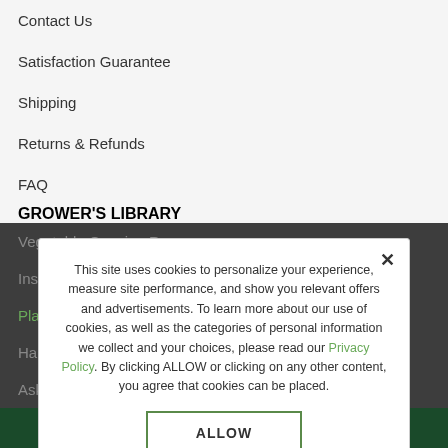Contact Us
Satisfaction Guarantee
Shipping
Returns & Refunds
FAQ
GROWER'S LIBRARY
Vegetable Growing Resources
Instt...
Planning & Advice Articles
Hardiness Zones
Ask a Grower
ABOUT JOHNNY'S
About Our Seeds
This site uses cookies to personalize your experience, measure site performance, and show you relevant offers and advertisements. To learn more about our use of cookies, as well as the categories of personal information we collect and your choices, please read our Privacy Policy. By clicking ALLOW or clicking on any other content, you agree that cookies can be placed.
ALLOW
Chat With Us